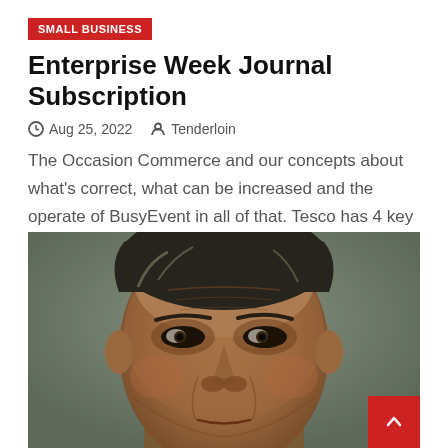SMALL BUSINESS
Enterprise Week Journal Subscription
Aug 25, 2022   Tenderloin
The Occasion Commerce and our concepts about what's correct, what can be increased and the operate of BusyEvent in all of that. Tesco has 4 key firms; their core U.Okay....
[Figure (photo): Close-up portrait photo of an older man with grey-streaked dark hair, prominent wrinkles, and intense expression, cropped tightly to the face]